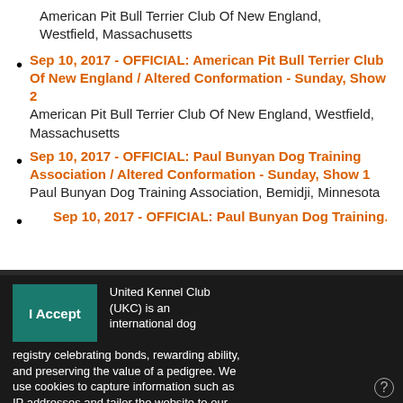American Pit Bull Terrier Club Of New England, Westfield, Massachusetts
Sep 10, 2017 - OFFICIAL: American Pit Bull Terrier Club Of New England / Altered Conformation - Sunday, Show 2
American Pit Bull Terrier Club Of New England, Westfield, Massachusetts
Sep 10, 2017 - OFFICIAL: Paul Bunyan Dog Training Association / Altered Conformation - Sunday, Show 1
Paul Bunyan Dog Training Association, Bemidji, Minnesota
Sep 10, 2017 - OFFICIAL: Paul Bunyan Dog Training...
United Kennel Club (UKC) is an international dog registry celebrating bonds, rewarding ability, and preserving the value of a pedigree. We use cookies to capture information such as IP addresses and tailor the website to our clients' needs. We also use this information to target and measure promotional material. Please see our Privacy Policy for more information.